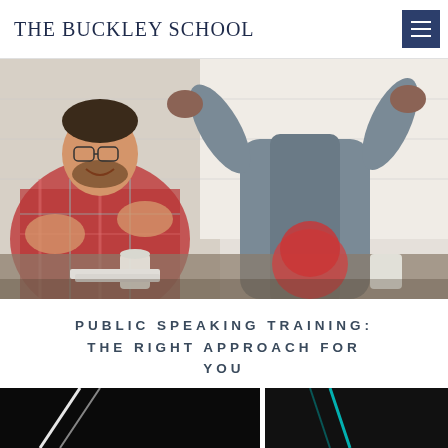THE BUCKLEY SCHOOL
[Figure (photo): A woman in a gray sleeveless top standing with arms raised presenting to a group, while a man in a plaid shirt claps enthusiastically. Office/meeting room setting with a whiteboard background.]
PUBLIC SPEAKING TRAINING: THE RIGHT APPROACH FOR YOU
[Figure (photo): Bottom strip showing two dark partially visible photos side by side with geometric light elements.]